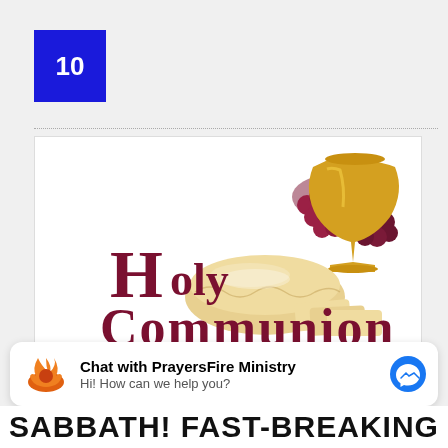10
[Figure (illustration): Holy Communion image with golden chalice, grapes, and bread loaves, with 'Holy Communion' text in dark red serif font]
JULY 1, 2022
Chat with PrayersFire Ministry
Hi! How can we help you?
SABBATH! FAST-BREAKING